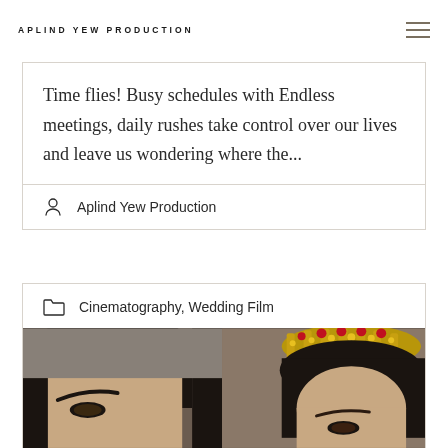APLIND YEW PRODUCTION
Time flies! Busy schedules with Endless meetings, daily rushes take control over our lives and leave us wondering where the...
Aplind Yew Production
Cinematography, Wedding Film
[Figure (photo): Close-up photo of a couple: a man on the left and a woman on the right wearing an ornate crown/headpiece with red and gold jewels]